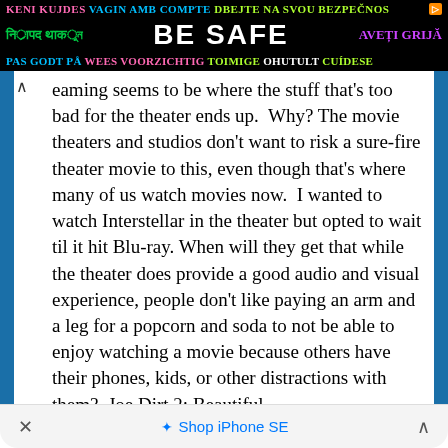[Figure (screenshot): Multilingual 'BE SAFE' advertisement banner with text in multiple languages on black background]
eaming seems to be where the stuff that's too bad for the theater ends up. Why? The movie theaters and studios don't want to risk a sure-fire theater movie to this, even though that's where many of us watch movies now. I wanted to watch Interstellar in the theater but opted to wait til it hit Blu-ray. When will they get that while the theater does provide a good audio and visual experience, people don't like paying an arm and a leg for a popcorn and soda to not be able to enjoy watching a movie because others have their phones, kids, or other distractions with them? Joe Dirt 2: Beautiful
× Shop iPhone SE ^